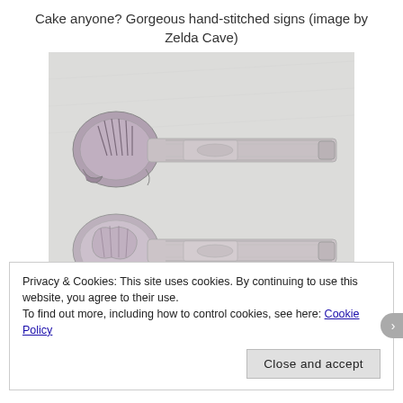Cake anyone?  Gorgeous hand-stitched signs (image by Zelda Cave)
[Figure (photo): Two ornate silver cake servers/spatulas with decorative shell and scroll patterns on their handles, photographed against a light grey background.]
Privacy & Cookies: This site uses cookies. By continuing to use this website, you agree to their use.
To find out more, including how to control cookies, see here: Cookie Policy
Close and accept